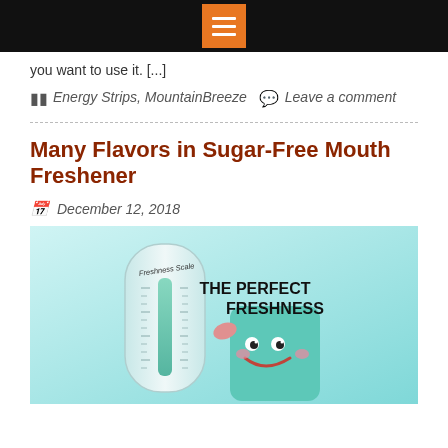you want to use it. [...]
Energy Strips, MountainBreeze   Leave a comment
Many Flavors in Sugar-Free Mouth Freshener
December 12, 2018
[Figure (illustration): Promotional image showing a thermometer-style 'Freshness Scale' gauge next to a cartoon mint character with text 'THE PERFECT FRESHNESS' on a light blue background]